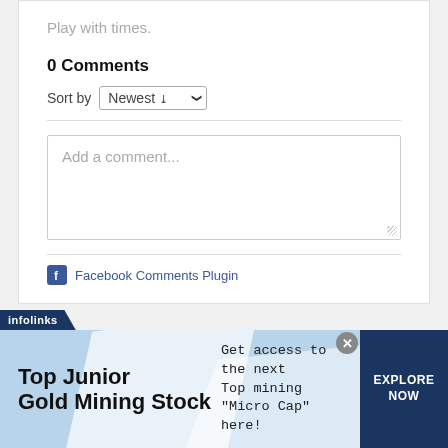Play with times.
0 Comments
Sort by Newest
Add a comment...
Facebook Comments Plugin
[Figure (screenshot): Infolinks advertisement banner for Top Junior Gold Mining Stock. Text reads: 'Get access to the next Top mining "Micro Cap" here!' with an EXPLORE NOW button on the right.]